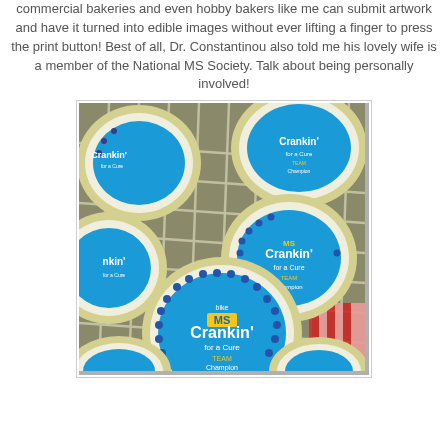commercial bakeries and even hobby bakers like me can submit artwork and have it turned into edible images without ever lifting a finger to press the print button! Best of all, Dr. Constantinou also told me his lovely wife is a member of the National MS Society. Talk about being personally involved!
[Figure (photo): Photo of round decorated cookies on a wire cooling rack. Each cookie has a blue circular logo reading 'Crankin for a Cure TEAM Champion' with a gold MS logo on white frosting with a yellow-green scalloped border.]